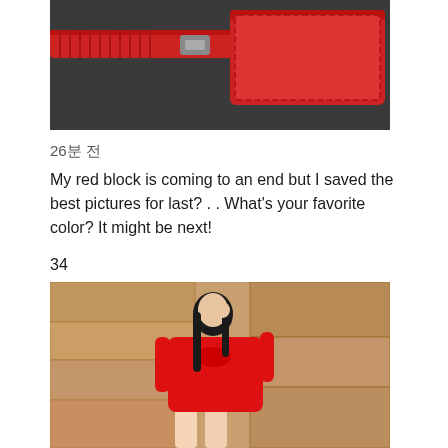[Figure (photo): Top portion of a photo showing red accessories including a red strap and red wallet/purse on a surface]
26분 전
My red block is coming to an end but I saved the best pictures for last? . . What's your favorite color? It might be next!
34
[Figure (photo): Woman in a red off-shoulder tied dress posing against a stone/brick wall background]